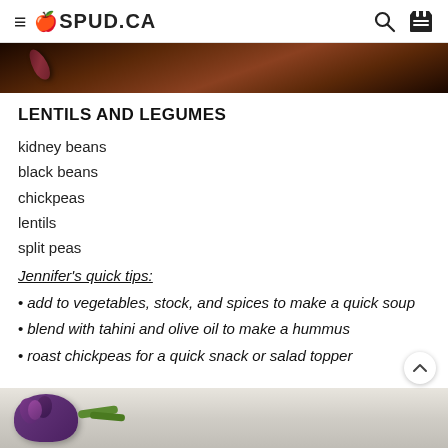SPUD.CA
[Figure (photo): Close-up photo of kidney beans on a dark wooden surface]
LENTILS AND LEGUMES
kidney beans
black beans
chickpeas
lentils
split peas
Jennifer's quick tips:
add to vegetables, stock, and spices to make a quick soup
blend with tahini and olive oil to make a hummus
roast chickpeas for a quick snack or salad topper
[Figure (photo): Photo of olives in a bowl with green vegetables on a light wooden surface]